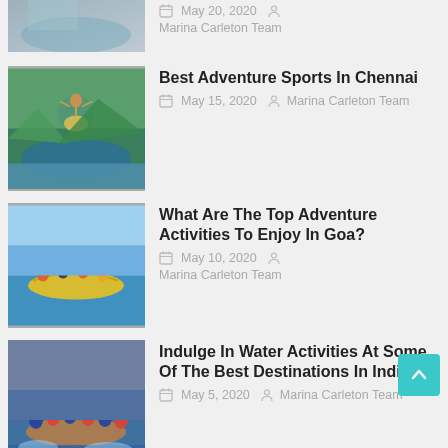[Figure (photo): Partial top row: action/adventure image (partially cropped at top)]
May 20, 2020  Marina Carleton Team
[Figure (photo): Person doing extreme jump/bungee over scenic river valley]
Best Adventure Sports In Chennai
May 15, 2020  Marina Carleton Team
[Figure (photo): Group of people on banana boat water ride]
What Are The Top Adventure Activities To Enjoy In Goa?
May 10, 2020  Marina Carleton Team
[Figure (photo): Group whitewater rafting]
Indulge In Water Activities At Some Of The Best Destinations In India.
May 5, 2020  Marina Carleton Team
[Figure (photo): Water sports image (partially cropped at bottom)]
Water Sports Safety For Kids